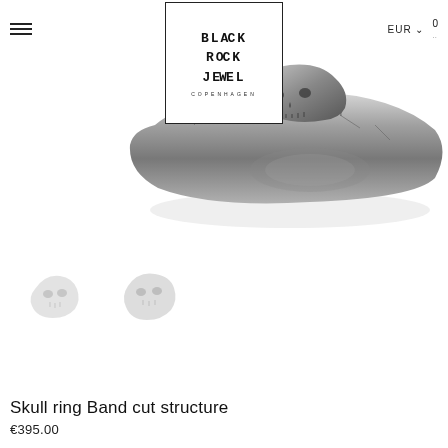BLACK ROCK JEWEL COPENHAGEN | EUR | 0
[Figure (photo): Close-up photo of a skull ring band with cut structure in silver/oxidized metal, side profile view on white background]
[Figure (photo): Two small thumbnail images of the skull ring from different angles, faded/light style]
Skull ring Band cut structure
€395.00